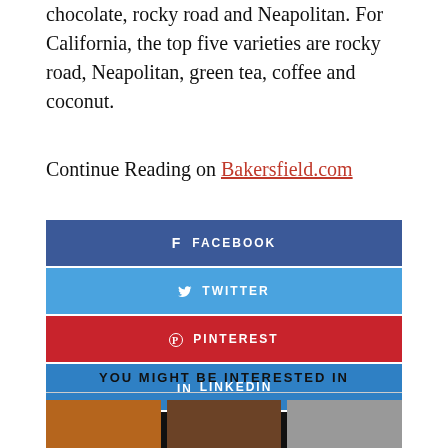chocolate, rocky road and Neapolitan. For California, the top five varieties are rocky road, Neapolitan, green tea, coffee and coconut.
Continue Reading on Bakersfield.com
[Figure (infographic): Social sharing buttons: Facebook (dark blue), Twitter (light blue), Pinterest (red), LinkedIn (blue), Email (black)]
YOU MIGHT BE INTERESTED IN
[Figure (photo): Three thumbnail images in a row at the bottom of the page]